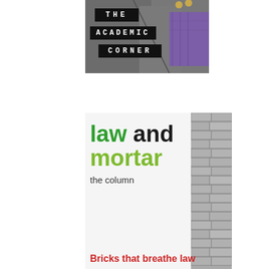[Figure (photo): Photo of a person wearing a grey suit jacket with a purple shirt visible, with gold buttons. Over the image are three black label boxes reading: THE, ACADEMIC, CORNER in monospace white text.]
[Figure (illustration): Layout panel showing 'law and mortar / the column' text branding with green and dark text, beside a vertical strip of brick wall photography. Below the main text is a red subtitle: Bricks that breathe law.]